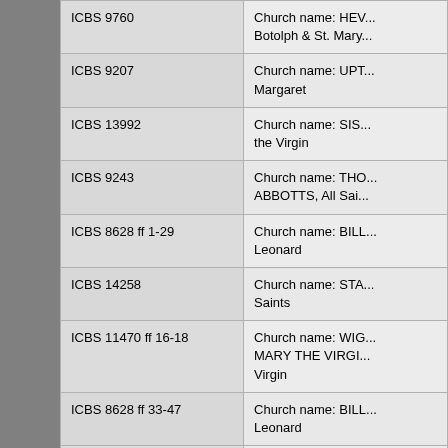| Reference | Church name |
| --- | --- |
| ICBS 9760 | Church name: HEV... Botolph & St. Mary... |
| ICBS 9207 | Church name: UPT... Margaret |
| ICBS 13992 | Church name: SIS... the Virgin |
| ICBS 9243 | Church name: THO... ABBOTTS, All Sai... |
| ICBS 8628 ff 1-29 | Church name: BILL... Leonard |
| ICBS 14258 | Church name: STA... Saints |
| ICBS 11470 ff 16-18 | Church name: WIG... MARY THE VIRGI... Virgin |
| ICBS 8628 ff 33-47 | Church name: BILL... Leonard |
| ICBS 9781 ff 1-27 | Church name: HEY... & St. Paul |
| ICBS 14782 | Church name: CAS... Cross |
| ICBS 10709 ff 50-59 | Church name: WAB... St. Mary the Virgin... |